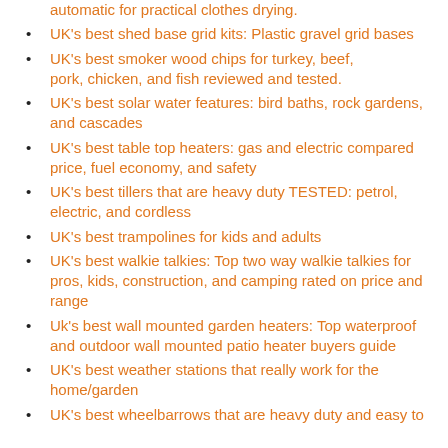automatic for practical clothes drying.
UK's best shed base grid kits: Plastic gravel grid bases
UK's best smoker wood chips for turkey, beef, pork, chicken, and fish reviewed and tested.
UK's best solar water features: bird baths, rock gardens, and cascades
UK's best table top heaters: gas and electric compared price, fuel economy, and safety
UK's best tillers that are heavy duty TESTED: petrol, electric, and cordless
UK's best trampolines for kids and adults
UK's best walkie talkies: Top two way walkie talkies for pros, kids, construction, and camping rated on price and range
Uk's best wall mounted garden heaters: Top waterproof and outdoor wall mounted patio heater buyers guide
UK's best weather stations that really work for the home/garden
UK's best wheelbarrows that are heavy duty and easy to